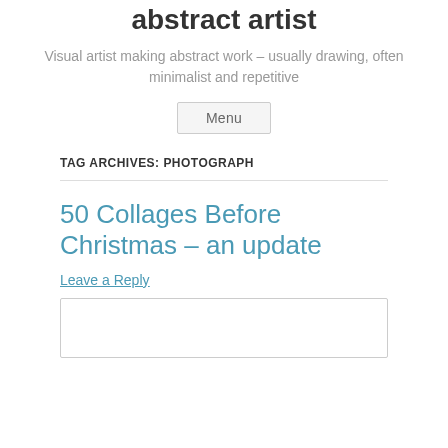abstract artist
Visual artist making abstract work – usually drawing, often minimalist and repetitive
TAG ARCHIVES: PHOTOGRAPH
50 Collages Before Christmas – an update
Leave a Reply